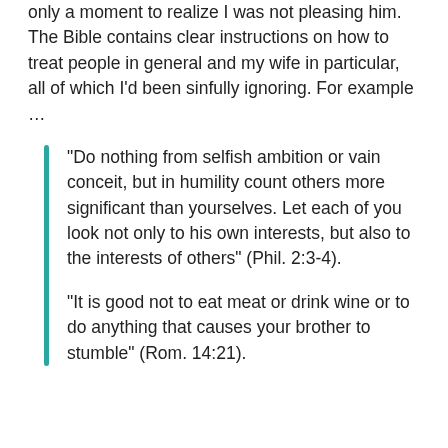only a moment to realize I was not pleasing him. The Bible contains clear instructions on how to treat people in general and my wife in particular, all of which I'd been sinfully ignoring. For example …
“Do nothing from selfish ambition or vain conceit, but in humility count others more significant than yourselves. Let each of you look not only to his own interests, but also to the interests of others” (Phil. 2:3-4).
“It is good not to eat meat or drink wine or to do anything that causes your brother to stumble” (Rom. 14:21).